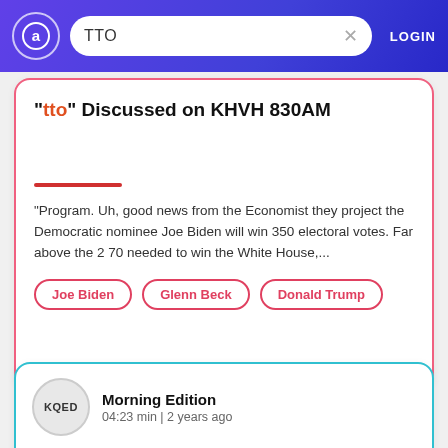tto | LOGIN
"tto" Discussed on KHVH 830AM
"Program. Uh, good news from the Economist they project the Democratic nominee Joe Biden will win 350 electoral votes. Far above the 2 70 needed to win the White House,...
Joe Biden
Glenn Beck
Donald Trump
Morning Edition
04:23 min | 2 years ago
Trump and Biden make final pitch to